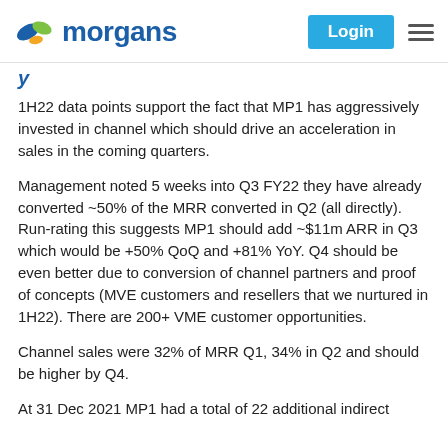Morgans | Login
1H22 data points support the fact that MP1 has aggressively invested in channel which should drive an acceleration in sales in the coming quarters.
Management noted 5 weeks into Q3 FY22 they have already converted ~50% of the MRR converted in Q2 (all directly). Run-rating this suggests MP1 should add ~$11m ARR in Q3 which would be +50% QoQ and +81% YoY. Q4 should be even better due to conversion of channel partners and proof of concepts (MVE customers and resellers that we nurtured in 1H22). There are 200+ VME customer opportunities.
Channel sales were 32% of MRR Q1, 34% in Q2 and should be higher by Q4.
At 31 Dec 2021 MP1 had a total of 22 additional indirect